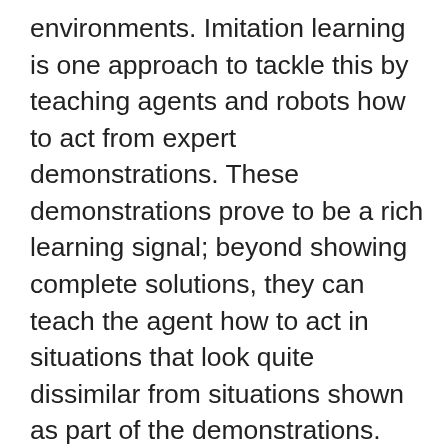environments. Imitation learning is one approach to tackle this by teaching agents and robots how to act from expert demonstrations. These demonstrations prove to be a rich learning signal; beyond showing complete solutions, they can teach the agent how to act in situations that look quite dissimilar from situations shown as part of the demonstrations. How to use demonstrations most effectively is a question that has occupied many researchers in the past. In my thesis research, I developed a novel view on this question. Beyond introducing algorithms